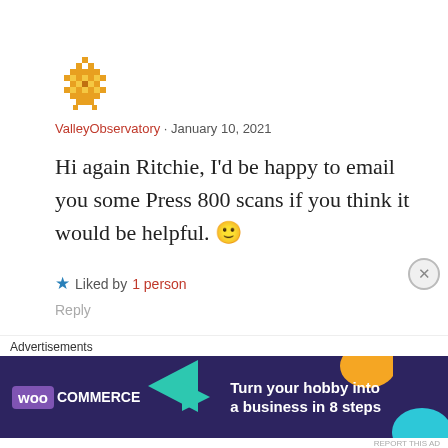[Figure (illustration): Orange pixel/diamond pattern avatar icon for ValleyObservatory]
ValleyObservatory · January 10, 2021
Hi again Ritchie, I'd be happy to email you some Press 800 scans if you think it would be helpful. 🙂
★ Liked by 1 person
Reply
[Figure (illustration): Orange pixel/diamond pattern avatar icon (second, partially visible)]
Advertisements
[Figure (screenshot): WooCommerce advertisement banner: 'Turn your hobby into a business in 8 steps']